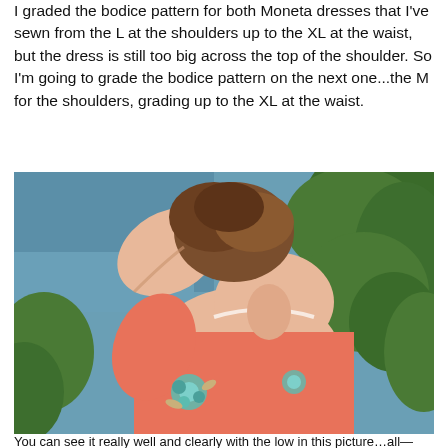I graded the bodice pattern for both Moneta dresses that I've sewn from the L at the shoulders up to the XL at the waist, but the dress is still too big across the top of the shoulder. So I'm going to grade the bodice pattern on the next one...the M for the shoulders, grading up to the XL at the waist.
[Figure (photo): Back view of a woman wearing a coral pink floral dress with teal/blue flower pattern, photographed outdoors near a lake with green trees in the background. She has her arm raised behind her head, showing the back neckline and shoulder of the dress.]
You can see it really well and clearly with the low in this picture…all—